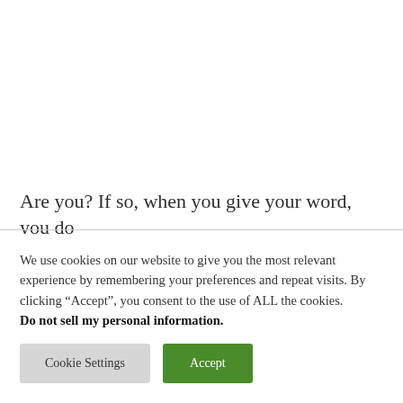Are you? If so, when you give your word, you do
We use cookies on our website to give you the most relevant experience by remembering your preferences and repeat visits. By clicking “Accept”, you consent to the use of ALL the cookies. Do not sell my personal information.